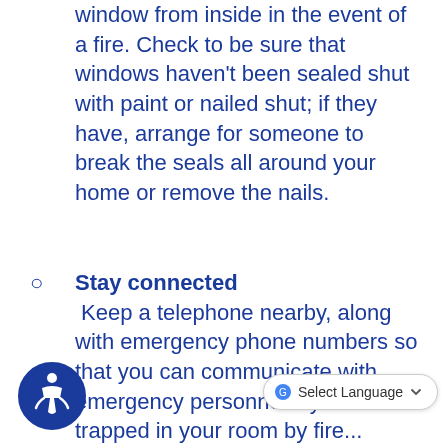window from inside in the event of a fire. Check to be sure that windows haven't been sealed shut with paint or nailed shut; if they have, arrange for someone to break the seals all around your home or remove the nails.
Stay connected Keep a telephone nearby, along with emergency phone numbers so that you can communicate with emergency per[sons if] you're trapped in your room by fire...